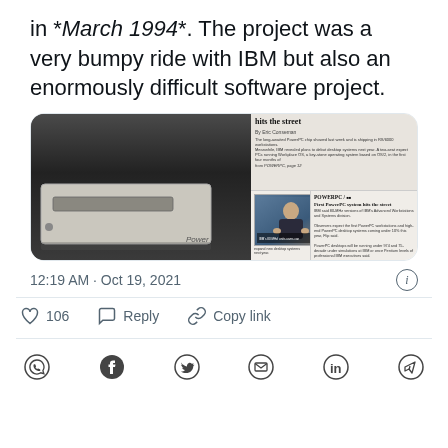in *March 1994*. The project was a very bumpy ride with IBM but also an enormously difficult software project.
[Figure (screenshot): Tweet screenshot showing a photo of a PowerPC computer tower on the left and a newspaper article 'First PowerPC system hits the street' on the right]
12:19 AM · Oct 19, 2021
♡ 106   Reply   Copy link
[Figure (infographic): Social share bar with icons: WhatsApp, Facebook, Twitter, Email, LinkedIn, Telegram]